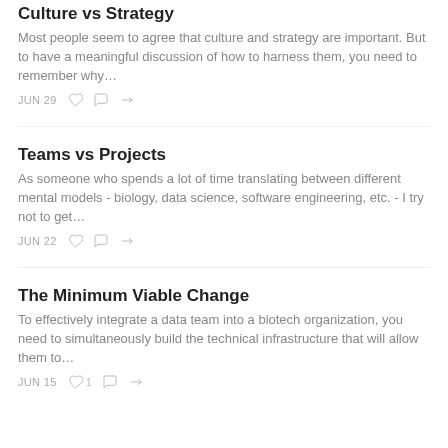Culture vs Strategy
Most people seem to agree that culture and strategy are important. But to have a meaningful discussion of how to harness them, you need to remember why…
JUN 29
Teams vs Projects
As someone who spends a lot of time translating between different mental models - biology, data science, software engineering, etc. - I try not to get…
JUN 22
The Minimum Viable Change
To effectively integrate a data team into a biotech organization, you need to simultaneously build the technical infrastructure that will allow them to…
JUN 15  1